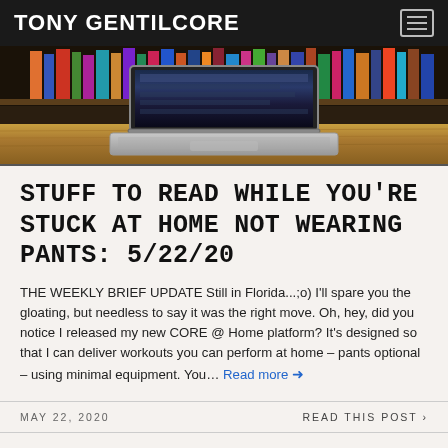TONY GENTILCORE
[Figure (photo): Laptop computer on a wooden desk with bookshelves in the background]
STUFF TO READ WHILE YOU'RE STUCK AT HOME NOT WEARING PANTS: 5/22/20
THE WEEKLY BRIEF UPDATE Still in Florida...;o) I'll spare you the gloating, but needless to say it was the right move. Oh, hey, did you notice I released my new CORE @ Home platform? It's designed so that I can deliver workouts you can perform at home – pants optional – using minimal equipment. You… Read more ➤
MAY 22, 2020   READ THIS POST >